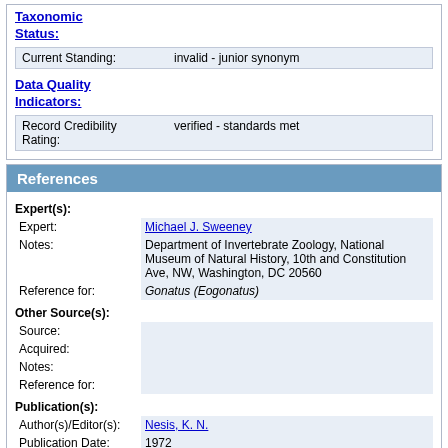Taxonomic Status:
| Current Standing: | invalid - junior synonym |
Data Quality Indicators:
| Record Credibility Rating: | verified - standards met |
References
Expert(s):
| Expert: | Michael J. Sweeney |
| Notes: | Department of Invertebrate Zoology, National Museum of Natural History, 10th and Constitution Ave, NW, Washington, DC 20560 |
| Reference for: | Gonatus (Eogonatus) |
Other Source(s):
| Source: |  |
| Acquired: |  |
| Notes: |  |
| Reference for: |  |
Publication(s):
| Author(s)/Editor(s): | Nesis, K. N. |
| Publication Date: | 1972 |
| Article/Chapter Title: | Two new species of gonatid squids from the north Pacific |
| Journal/Book Name, Vol. No.: | Zoologichesky Zhurnal, 51 (9) |